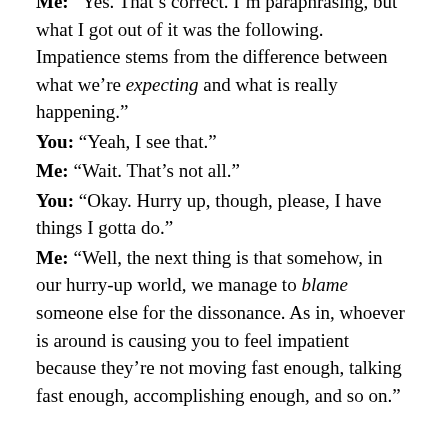Me: “Yes. That’s correct. I’m paraphrasing, but what I got out of it was the following. Impatience stems from the difference between what we’re expecting and what is really happening.”
You: “Yeah, I see that.”
Me: “Wait. That’s not all.”
You: “Okay. Hurry up, though, please, I have things I gotta do.”
Me: “Well, the next thing is that somehow, in our hurry-up world, we manage to blame someone else for the dissonance. As in, whoever is around is causing you to feel impatient because they’re not moving fast enough, talking fast enough, accomplishing enough, and so on.”